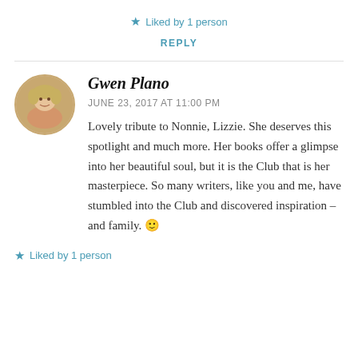★ Liked by 1 person
REPLY
Gwen Plano
JUNE 23, 2017 AT 11:00 PM
Lovely tribute to Nonnie, Lizzie. She deserves this spotlight and much more. Her books offer a glimpse into her beautiful soul, but it is the Club that is her masterpiece. So many writers, like you and me, have stumbled into the Club and discovered inspiration – and family. 🙂
★ Liked by 1 person